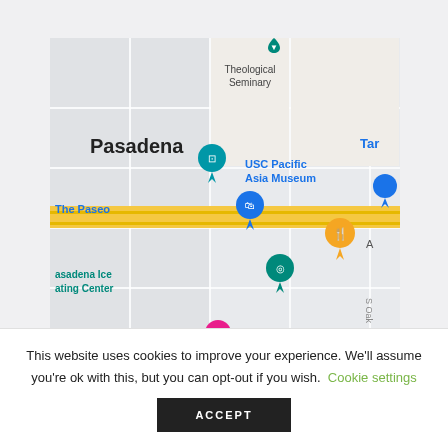[Figure (map): Google Maps screenshot showing Pasadena area with landmarks: Theological Seminary, USC Pacific Asia Museum, The Paseo, Pasadena Ice Skating Center, and various map pins including blue, teal, orange, and pink markers. A major highlighted road runs horizontally through the map.]
This website uses cookies to improve your experience. We'll assume you're ok with this, but you can opt-out if you wish. Cookie settings
ACCEPT